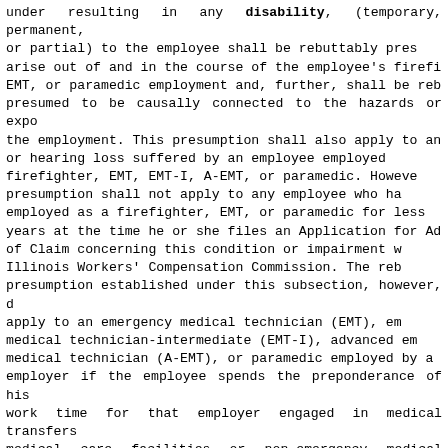under resulting in any disability, (temporary, permanent, or partial) to the employee shall be rebuttably presumed to arise out of and in the course of the employee's firefighter, EMT, or paramedic employment and, further, shall be rebuttably presumed to be causally connected to the hazards or exposures of the employment. This presumption shall also apply to any cancer or hearing loss suffered by an employee employed as a firefighter, EMT, EMT-I, A-EMT, or paramedic. However, this presumption shall not apply to any employee who has been employed as a firefighter, EMT, or paramedic for less than 5 years at the time he or she files an Application for Adjustment of Claim concerning this condition or impairment with the Illinois Workers' Compensation Commission. The rebuttable presumption established under this subsection, however, does not apply to an emergency medical technician (EMT), emergency medical technician-intermediate (EMT-I), advanced emergency medical technician (A-EMT), or paramedic employed by a private employer if the employee spends the preponderance of his or her work time for that employer engaged in medical transfers to medical care facilities or non-emergency medical transfers from medical care facilities. The changes made to this subsection by Public Act 98-291 shall be narrowly construed. A Finding and Decision of the Illinois Workers' Compensation Commission under only the rebuttable presumption provided in this subsection shall not be admissible or be deemed res judicata in any disability claim under the Illinois Pension Code arising out of the same medical condition; however, this sentence makes no change to the law set forth in Krohe v. City of Bloomington, 204 Ill.2d 392.
(Source: P.A. 102-493, eff. 8-20-21.)